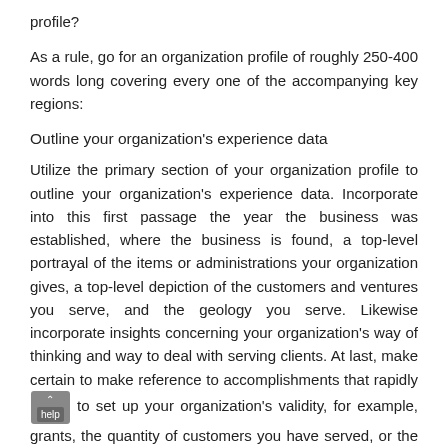profile?
As a rule, go for an organization profile of roughly 250-400 words long covering every one of the accompanying key regions:
Outline your organization's experience data
Utilize the primary section of your organization profile to outline your organization's experience data. Incorporate into this first passage the year the business was established, where the business is found, a top-level portrayal of the items or administrations your organization gives, a top-level depiction of the customers and ventures you serve, and the geology you serve. Likewise incorporate insights concerning your organization's way of thinking and way to deal with serving clients. At last, make certain to make reference to accomplishments that rapidly help to set up your organization's validity, for example, grants, the quantity of customers you have served, or the size of your business.